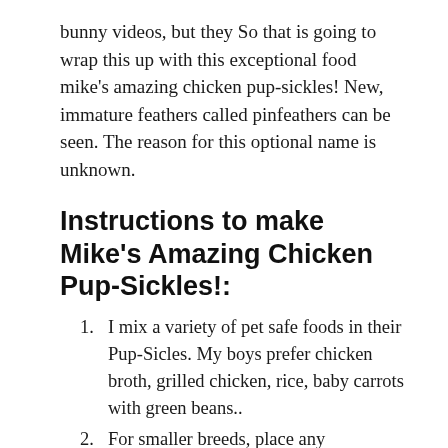bunny videos, but they So that is going to wrap this up with this exceptional food mike's amazing chicken pup-sickles! New, immature feathers called pinfeathers can be seen. The reason for this optional name is unknown.
Instructions to make Mike's Amazing Chicken Pup-Sickles!:
I mix a variety of pet safe foods in their Pup-Sicles. My boys prefer chicken broth, grilled chicken, rice, baby carrots with green beans..
For smaller breeds, place any ingredient in the FOODS SAFE FOR DOGS IN